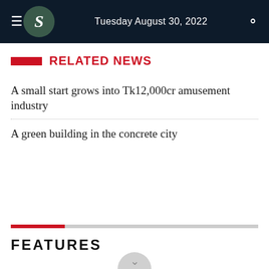Tuesday August 30, 2022
RELATED NEWS
A small start grows into Tk12,000cr amusement industry
A green building in the concrete city
FEATURES